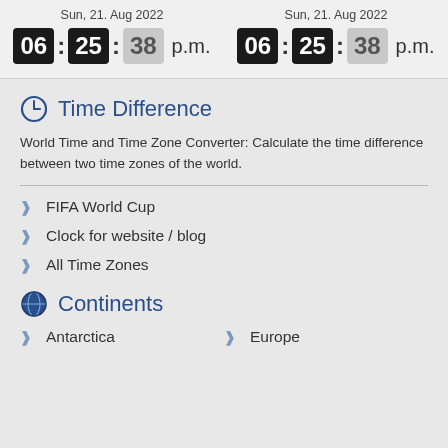Sun, 21. Aug 2022 — 06:25:38 p.m. (left clock)
Sun, 21. Aug 2022 — 06:25:38 p.m. (right clock)
Time Difference
World Time and Time Zone Converter: Calculate the time difference between two time zones of the world.
FIFA World Cup
Clock for website / blog
All Time Zones
Continents
Antarctica
Europe